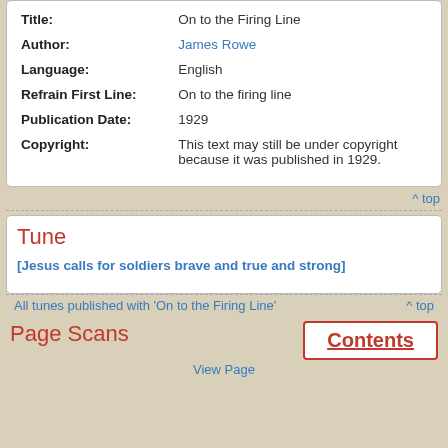| Field | Value |
| --- | --- |
| Title: | On to the Firing Line |
| Author: | James Rowe |
| Language: | English |
| Refrain First Line: | On to the firing line |
| Publication Date: | 1929 |
| Copyright: | This text may still be under copyright because it was published in 1929. |
^ top
Tune
[Jesus calls for soldiers brave and true and strong]
All tunes published with 'On to the Firing Line'
^ top
Page Scans
Contents
View Page